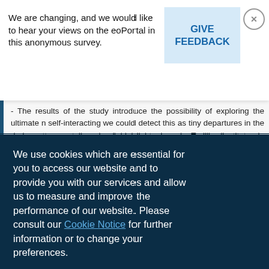We are changing, and we would like to hear your views on the eoPortal in this anonymous survey.
GIVE FEEDBACK
- The results of the study introduce the possibility of exploring the ultimate n self-interacting we could detect this as tiny departures in the dark matter c stellar glow," highlights Ignacio Trujillo (Instituto de Astrofísica de Canarias, S all that is known about dark matter is that it appears to interact with regular m
We use cookies which are essential for you to access our website and to provide you with our services and allow us to measure and improve the performance of our website. Please consult our Cookie Notice for further information or to change your preferences.
Accept all cookies
No, thanks!